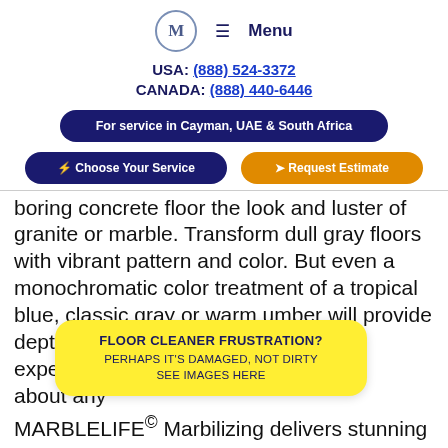M  ≡ Menu
USA: (888) 524-3372
CANADA: (888) 440-6446
For service in Cayman, UAE & South Africa
⚡ Choose Your Service
➤ Request Estimate
boring concrete floor the look and luster of granite or marble. Transform dull gray floors with vibrant pattern and color. But even a monochromatic color treatment of a tropical blue, classic gray or warm umber will provide depth and beauty to any space. Our experience... just about any...
MARBLELIFE® Marbilizing delivers stunning
FLOOR CLEANER FRUSTRATION?
PERHAPS IT'S DAMAGED, NOT DIRTY
SEE IMAGES HERE